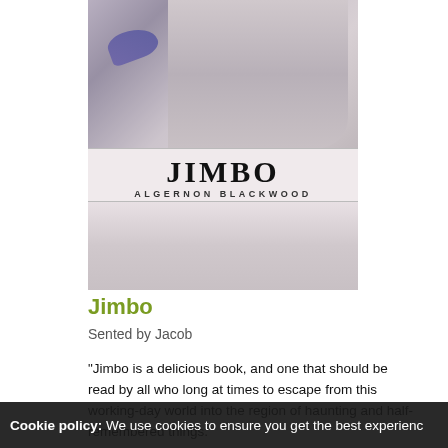[Figure (illustration): Book cover for 'Jimbo' by Algernon Blackwood, showing a woman with dark hair and a bird, black and white illustration style with the title JIMBO and author ALGERNON BLACKWOOD printed on it.]
Jimbo
Sented by Jacob
"Jimbo is a delicious book, and one that should be read by all who long at times to escape from this working-day world into the region of haunting and half-remembered things."
[Figure (illustration): Book cover for 'January in Atlantis', teal/blue toned cover showing a shirtless male figure with stylized decorative lettering.]
Cookie policy: We use cookies to ensure you get the best experienc